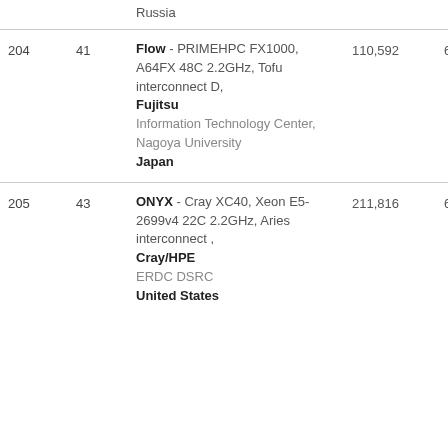| Rank | Prev | System | Cores | Rmax (TFlop/s) |
| --- | --- | --- | --- | --- |
|  |  | Russia |  |  |
| 204 | 41 | Flow - PRIMEHPC FX1000, A64FX 48C 2.2GHz, Tofu interconnect D, Fujitsu / Information Technology Center, Nagoya University / Japan | 110,592 | 6.62 |
| 205 | 43 | ONYX - Cray XC40, Xeon E5-2699v4 22C 2.2GHz, Aries interconnect, Cray/HPE / ERDC DSRC / United States | 211,816 | 6.32 |